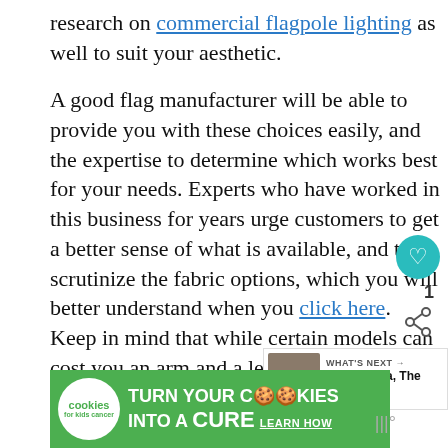research on commercial flagpole lighting as well to suit your aesthetic.
A good flag manufacturer will be able to provide you with these choices easily, and the expertise to determine which works best for your needs. Experts who have worked in this business for years urge customers to get a better sense of what is available, and to scrutinize the fabric options, which you will better understand when you click here. Keep in mind that while certain models can cost you an arm and a leg, it’s a small price for quality in the long run.
[Figure (screenshot): Green advertisement banner for 'cookies for kids cancer' campaign: turn your cookies into a CURE - Learn How]